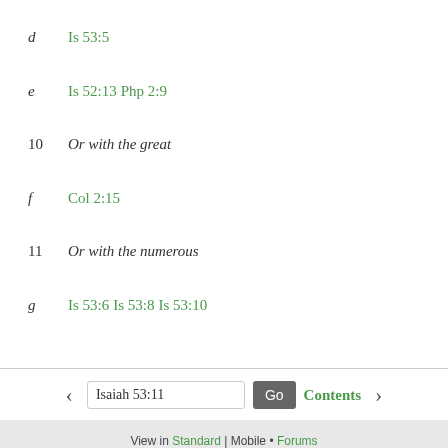d   Is 53:5
e   Is 52:13 Php 2:9
10  Or with the great
f   Col 2:15
11  Or with the numerous
g   Is 53:6 Is 53:8 Is 53:10
Isaiah 53:11
View in Standard | Mobile • Forums  A service of Faithlife / Logos Bible Software